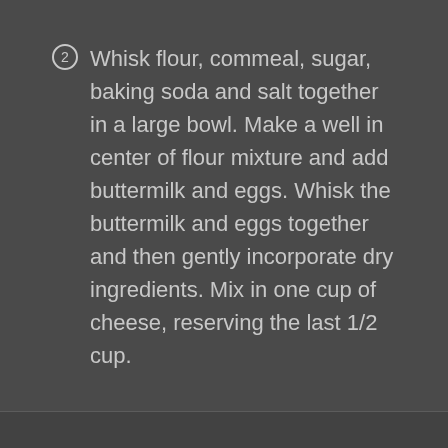Whisk flour, commeal, sugar, baking soda and salt together in a large bowl. Make a well in center of flour mixture and add buttermilk and eggs. Whisk the buttermilk and eggs together and then gently incorporate dry ingredients. Mix in one cup of cheese, reserving the last 1/2 cup.